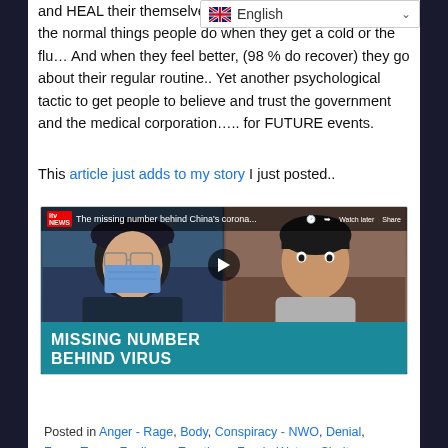and HEAL their themselves with intervention except for the normal things people do when they get a cold or the flu… And when they feel better, (98 % do recover) they go about their regular routine.. Yet another psychological tactic to get people to believe and trust the government and the medical corporation….. for FUTURE events.
This article just adds to my story I just posted..
[Figure (screenshot): Embedded video thumbnail from ITV News showing 'The missing number behind China's corona...' with two people - one wearing a face mask on the left, one without a mask on the right. Video title overlay reads 'MISSING NUMBER BEHIND VIRUS' on a teal background.]
Posted in Anger - Rage, Body, Conspiracy - NWO, Denial, Fear - Terror, Feelings - Emotions, Food - Water - Shelter